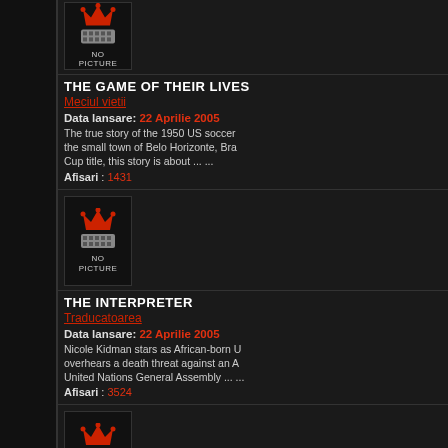[Figure (illustration): No picture placeholder with red crown and film strip icon, top partial]
THE GAME OF THEIR LIVES
Meciul vietii
Data lansare: 22 Aprilie 2005
The true story of the 1950 US soccer the small town of Belo Horizonte, Bra Cup title, this story is about ... ...
Afisari : 1431
[Figure (illustration): No picture placeholder with red crown and film strip icon]
THE INTERPRETER
Traducatoarea
Data lansare: 22 Aprilie 2005
Nicole Kidman stars as African-born U overhears a death threat against an A United Nations General Assembly ... ...
Afisari : 3524
[Figure (illustration): No picture placeholder with red crown and film strip icon]
KING'S RANSOM
KING'S RANSOM
Data lansare: 22 Aprilie 2005